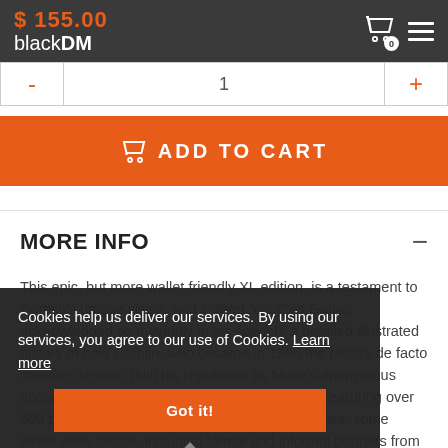$ 155.00 blackDM
- 1 +
ADD TO CART
MORE INFO
This epic, but more wallet friendly XL edition, is a testament to Corbijn’s unique vision, and indeed “cool” as Gahan acknowledged so movingly in his speech: a detailed illustrated history of how Corbijn, who became in 1986 the band’s de facto creative director, built his reputation as Muse’s eponymous documentary could land the band in the world. Featuring over 500 photographs from Corbijn’s extensive archives, some never seen before, including formal and informal portraits from places such as Madrid, Hamburg, the California desert, Prague and
Cookies help us deliver our services. By using our services, you agree to our use of Cookies. Learn more
Got it!